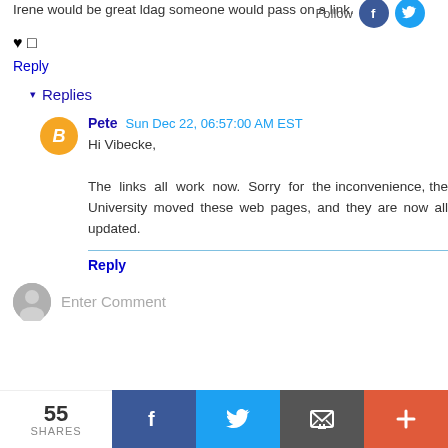Irene would be great ldag someone would pass on a link.
♥ □
Reply
▾ Replies
Pete  Sun Dec 22, 06:57:00 AM EST
Hi Vibecke,

The links all work now. Sorry for the inconvenience, the University moved these web pages, and they are now all updated.
Reply
Enter Comment
55 SHARES  f  [twitter]  [mail]  +